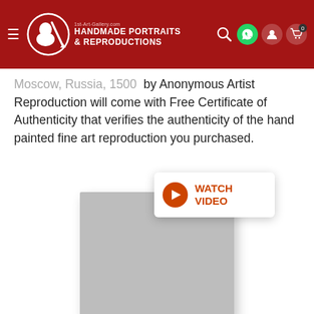1st-Art-Gallery.com HANDMADE PORTRAITS & REPRODUCTIONS
Moscow, Russia, 1500  by Anonymous Artist Reproduction will come with Free Certificate of Authenticity that verifies the authenticity of the hand painted fine art reproduction you purchased.
[Figure (screenshot): Watch Video button with orange play circle and gray image placeholder below it]